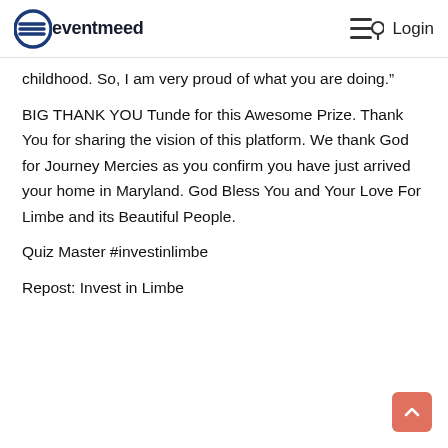eventmeed  Login
childhood. So, I am very proud of what you are doing.”
BIG THANK YOU Tunde for this Awesome Prize. Thank You for sharing the vision of this platform. We thank God for Journey Mercies as you confirm you have just arrived your home in Maryland. God Bless You and Your Love For Limbe and its Beautiful People.
Quiz Master #investinlimbe
Repost: Invest in Limbe